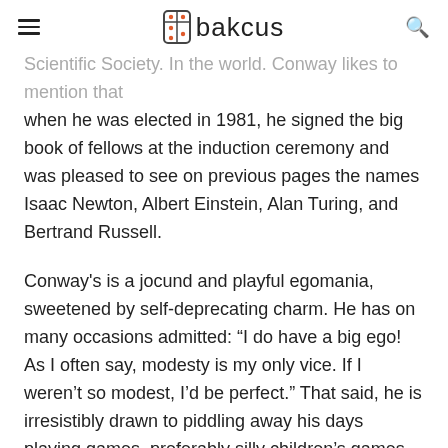Abakcus
Scientific Society. In the world. Conway likes to mention that when he was elected in 1981, he signed the big book of fellows at the induction ceremony and was pleased to see on previous pages the names Isaac Newton, Albert Einstein, Alan Turing, and Bertrand Russell.
Conway's is a jocund and playful egomania, sweetened by self-deprecating charm. He has on many occasions admitted: “I do have a big ego! As I often say, modesty is my only vice. If I weren’t so modest, I’d be perfect.” That said, he is irresistibly drawn to piddling away his days playing games, preferably silly children’s games. While his colleagues zealously guard their vacations for uninterrupted research time, Conway prefers to spend his summers hopping between maths camps for students.